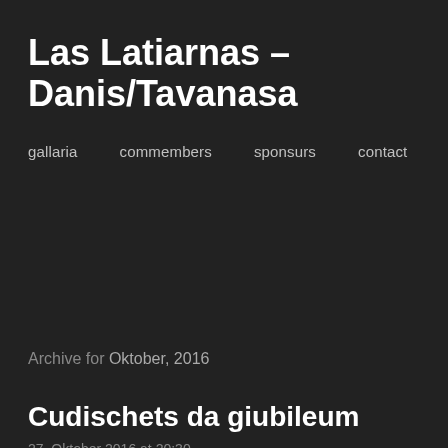Las Latiarnas – Danis/Tavanasa
gallaria   commembers   sponsurs   contact
Archive for Oktober, 2016
Cudischets da giubileum
27. Oktober 2016 at 20:30